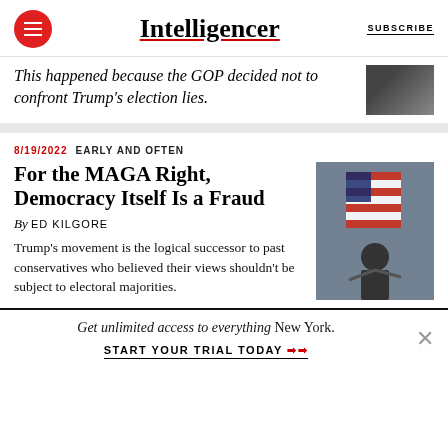Intelligencer | SUBSCRIBE
This happened because the GOP decided not to confront Trump’s election lies.
8/19/2022  EARLY AND OFTEN
For the MAGA Right, Democracy Itself Is a Fraud
By ED KILGORE
Trump’s movement is the logical successor to past conservatives who believed their views shouldn’t be subject to electoral majorities.
Get unlimited access to everything New York.
START YOUR TRIAL TODAY ➡➡